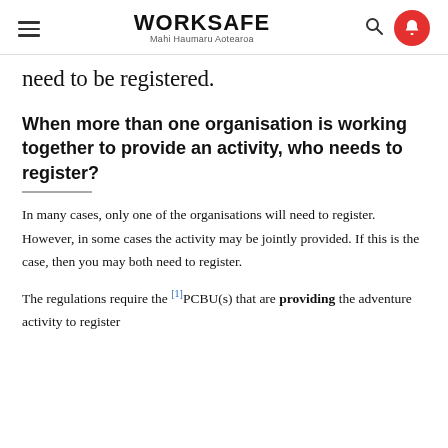WORKSAFE Mahi Haumaru Aotearoa
need to be registered.
When more than one organisation is working together to provide an activity, who needs to register?
In many cases, only one of the organisations will need to register. However, in some cases the activity may be jointly provided. If this is the case, then you may both need to register.
The regulations require the [1]PCBU(s) that are providing the adventure activity to register